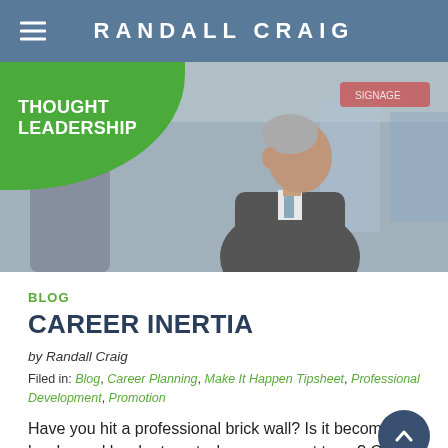RANDALL CRAIG
[Figure (photo): Header image of a man in a suit in profile at a professional event, with a green 'THOUGHT LEADERSHIP' badge overlay in the top-left corner]
BLOG
CAREER INERTIA
by Randall Craig
Filed in: Blog, Career Planning, Make It Happen Tipsheet, Professional Development, Promotion
Have you hit a professional brick wall? Is it becoming harder and harder to get where you want to go? Career Inertia refers to all of those things that slow you down as you try to reach your goals: not obstacles that stop you in your tracks, but people and activities (and mindset) that